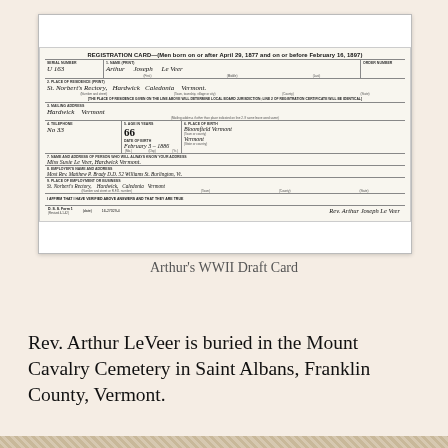[Figure (other): Scanned WWII Draft Registration Card for Arthur Joseph Le Veer. Card shows: Serial Number U163, Name: Arthur Joseph Le Veer, Place of Residence: St. Norbert's Rectory, Hardwick, Caledonia, Vermont. Mailing Address: Hardwick Vermont. Telephone: No 33. Age in Years: 66. Place of Birth: Bloomfield Vermont. Date of Birth: February 3 - 1886. Vermont. Employer: Most Rev. Matthew P. Brady D.D. 52 Williams St. Burlington, Vt. Place of Employment: St. Norbert's Rectory, Hardwick, Caledonia, Vermont. Signature: Rev. Arthur Joseph Le Veer.]
Arthur's WWII Draft Card
Rev. Arthur LeVeer is buried in the Mount Cavalry Cemetery in Saint Albans, Franklin County, Vermont.